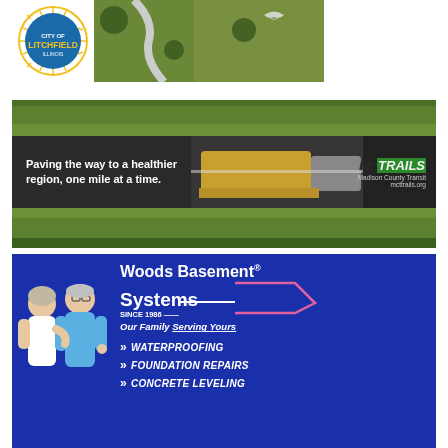[Figure (illustration): Litchfield city logo advertisement with aerial park photo showing trees and a bird]
[Figure (photo): MCT Trails advertisement - aerial view of trail with paving machinery, text: Paving the way to a healthier region, one mile at a time. MCT Trails Madison County Transit. mcttrails.org]
[Figure (illustration): Woods Basement Systems advertisement - blue background with cartoon couple mascots, Wood Basement Systems logo, SINCE 1986, Our Family Serving Yours, services: WATERPROOFING, FOUNDATION REPAIRS, CONCRETE LEVELING]